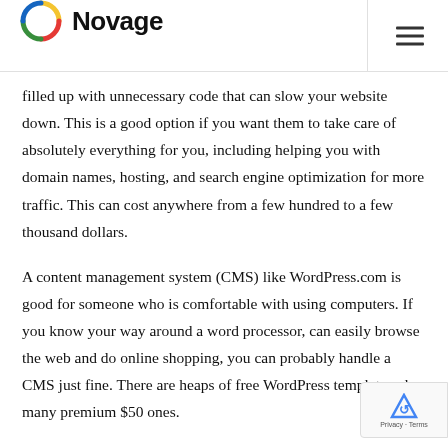Novage
filled up with unnecessary code that can slow your website down. This is a good option if you want them to take care of absolutely everything for you, including helping you with domain names, hosting, and search engine optimization for more traffic. This can cost anywhere from a few hundred to a few thousand dollars.
A content management system (CMS) like WordPress.com is good for someone who is comfortable with using computers. If you know your way around a word processor, can easily browse the web and do online shopping, you can probably handle a CMS just fine. There are heaps of free WordPress templates plus many premium $50 ones.